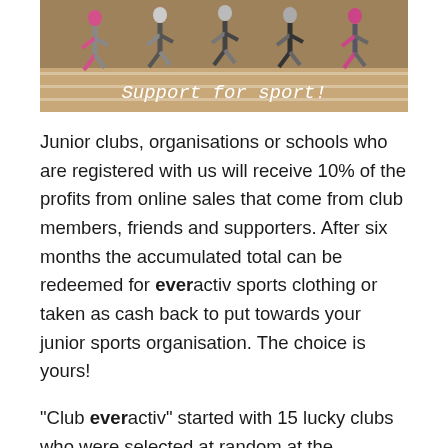[Figure (photo): Runners on a track with text overlay reading 'Support for sport!']
Junior clubs, organisations or schools who are registered with us will receive 10% of the profits from online sales that come from club members, friends and supporters. After six months the accumulated total can be redeemed for everactiv sports clothing or taken as cash back to put towards your junior sports organisation. The choice is yours!
“Club everactiv” started with 15 lucky clubs who were selected at random at the beginning of November 2016.